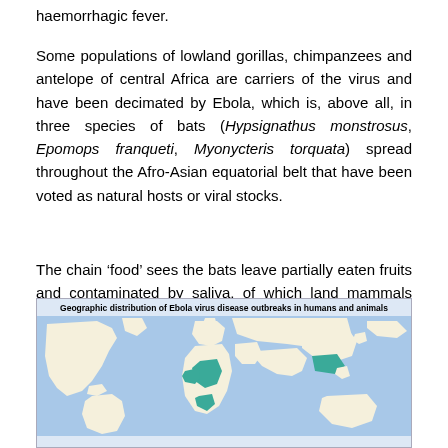haemorrhagic fever.
Some populations of lowland gorillas, chimpanzees and antelope of central Africa are carriers of the virus and have been decimated by Ebola, which is, above all, in three species of bats (Hypsignathus monstrosus, Epomops franqueti, Myonycteris torquata) spread throughout the Afro-Asian equatorial belt that have been voted as natural hosts or viral stocks.
The chain ‘food’ sees the bats leave partially eaten fruits and contaminated by saliva, of which land mammals such as gorillas and antelopes then will eat.
[Figure (map): Geographic distribution of Ebola virus disease outbreaks in humans and animals — world map showing affected regions highlighted in teal/blue-green, with title bar at top.]